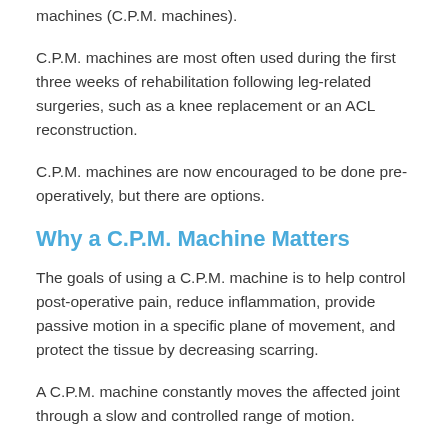machines (C.P.M. machines).
C.P.M. machines are most often used during the first three weeks of rehabilitation following leg-related surgeries, such as a knee replacement or an ACL reconstruction.
C.P.M. machines are now encouraged to be done pre-operatively, but there are options.
Why a C.P.M. Machine Matters
The goals of using a C.P.M. machine is to help control post-operative pain, reduce inflammation, provide passive motion in a specific plane of movement, and protect the tissue by decreasing scarring.
A C.P.M. machine constantly moves the affected joint through a slow and controlled range of motion.